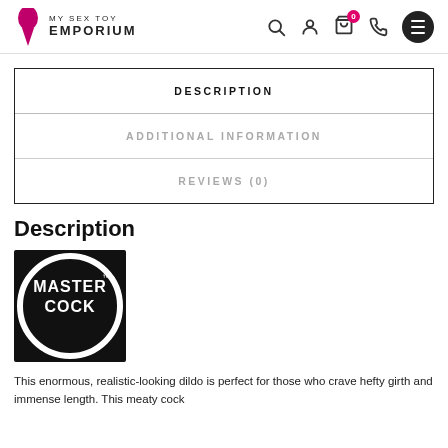MY SEX TOY EMPORIUM
| DESCRIPTION |
| ADDITIONAL INFORMATION |
| REVIEWS (0) |
Description
[Figure (logo): Master Cock brand logo — white circular ring on black background with stylized text MASTER COCK]
This enormous, realistic-looking dildo is perfect for those who crave hefty girth and immense length. This meaty cock